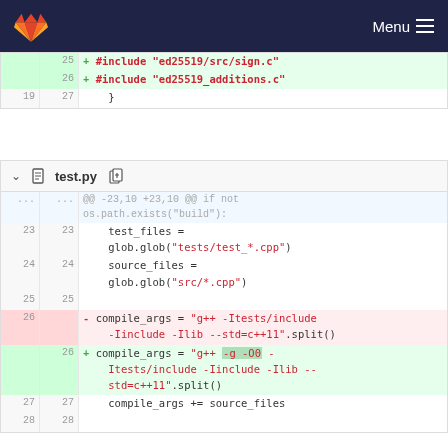GitLab — Menu
[Figure (screenshot): Git diff view showing two file diffs. First diff (partial) shows lines 25-27 of a C file with additions of #include ed25519/src/sign.c and #include ed25519_additions.c. Second diff shows test.py with hunk @@ -23,10 +23,10 @@ if not os.path.exists('build'), showing changes to compile_args variable replacing a string with one that includes -g -O0 flags.]
+ #include "ed25519/src/sign.c"
+ #include "ed25519_additions.c"
  }
test.py
@@ -23,10 +23,10 @@ if not os.path.exists("build"):
  test_files = glob.glob("tests/test_*.cpp")
  source_files = glob.glob("src/*.cpp")
- compile_args = "g++ -Itests/include -Iinclude -Ilib --std=c++11".split()
+ compile_args = "g++ -g -O0 -Itests/include -Iinclude -Ilib --std=c++11".split()
  compile_args += source_files